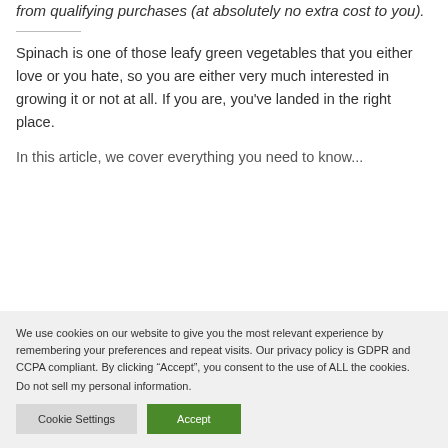from qualifying purchases (at absolutely no extra cost to you).
Spinach is one of those leafy green vegetables that you either love or you hate, so you are either very much interested in growing it or not at all. If you are, you've landed in the right place.
In this article, we cover everything you need to know...
We use cookies on our website to give you the most relevant experience by remembering your preferences and repeat visits. Our privacy policy is GDPR and CCPA compliant. By clicking “Accept”, you consent to the use of ALL the cookies.
Do not sell my personal information.